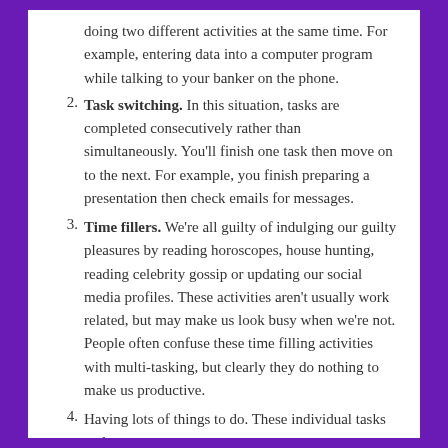(continuation) doing two different activities at the same time. For example, entering data into a computer program while talking to your banker on the phone.
2. Task switching. In this situation, tasks are completed consecutively rather than simultaneously. You'll finish one task then move on to the next. For example, you finish preparing a presentation then check emails for messages.
3. Time fillers. We're all guilty of indulging our guilty pleasures by reading horoscopes, house hunting, reading celebrity gossip or updating our social media profiles. These activities aren't usually work related, but may make us look busy when we're not. People often confuse these time filling activities with multi-tasking, but clearly they do nothing to make us productive.
4. Having lots of things to do. These individual tasks and...